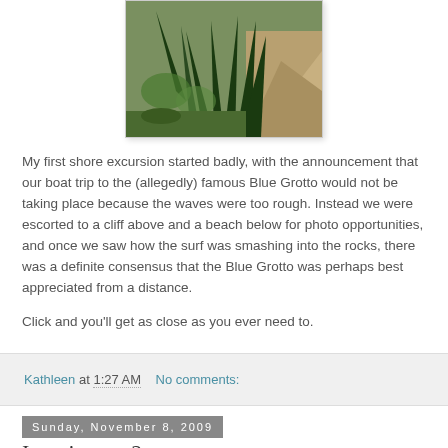[Figure (photo): Photograph of tropical plants and rocky terrain, partially cropped at top]
My first shore excursion started badly, with the announcement that our boat trip to the (allegedly) famous Blue Grotto would not be taking place because the waves were too rough. Instead we were escorted to a cliff above and a beach below for photo opportunities, and once we saw how the surf was smashing into the rocks, there was a definite consensus that the Blue Grotto was perhaps best appreciated from a distance.
Click and you'll get as close as you ever need to.
Kathleen at 1:27 AM   No comments:
Sunday, November 8, 2009
I got it, part 2